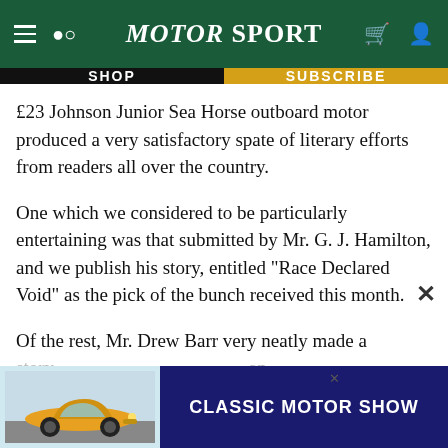Motor Sport
SHOP
SUBSCRIBE
£23 Johnson Junior Sea Horse outboard motor produced a very satisfactory spate of literary efforts from readers all over the country.
One which we considered to be particularly entertaining was that submitted by Mr. G. J. Hamilton, and we publish his story, entitled “Race Declared Void” as the pick of the bunch received this month.
Of the rest, Mr. Drew Barr very neatly made a story from ... an outb... of
[Figure (screenshot): Classic Motor Show advertisement banner with a Porsche 911 car image on the left and 'CLASSIC MOTOR SHOW' text on dark blue background on the right, with a close button (×)]